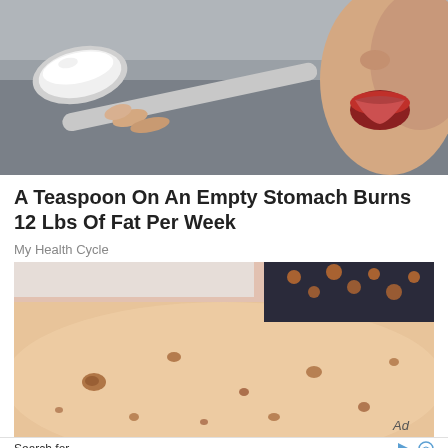[Figure (photo): Person holding a spoon with white powder/substance about to be consumed, on a gray background]
A Teaspoon On An Empty Stomach Burns 12 Lbs Of Fat Per Week
My Health Cycle
[Figure (photo): Close-up photo of a human arm/leg with skin showing age spots or moles, with a dark patterned fabric in the background. Ad label in the corner.]
Search for
1.   WAYS TO BURN BELLY FAT
Yahoo! Search | Sponsored